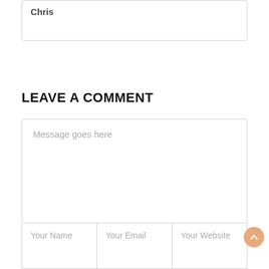Chris
LEAVE A COMMENT
Message goes here
Your Name
Your Email
Your Website